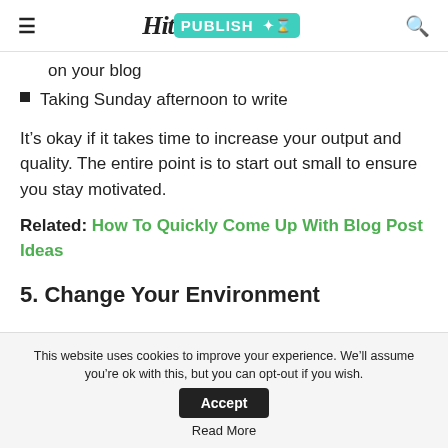Hit Publish
on your blog
Taking Sunday afternoon to write
It’s okay if it takes time to increase your output and quality. The entire point is to start out small to ensure you stay motivated.
Related: How To Quickly Come Up With Blog Post Ideas
5. Change Your Environment
This website uses cookies to improve your experience. We’ll assume you’re ok with this, but you can opt-out if you wish. Accept Read More